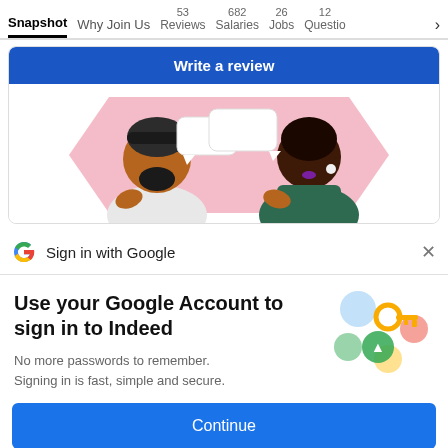Snapshot  Why Join Us  53 Reviews  682 Salaries  26 Jobs  12 Questio >
[Figure (illustration): Blue 'Write a review' button over illustration of two people (one with turban and beard, one Black woman with earring) facing each other with speech bubbles, on a pink background]
Sign in with Google
Use your Google Account to sign in to Indeed
No more passwords to remember. Signing in is fast, simple and secure.
[Figure (illustration): Colorful illustration of a golden key with colored circular icons around it (blue, green, red/pink, yellow)]
Continue